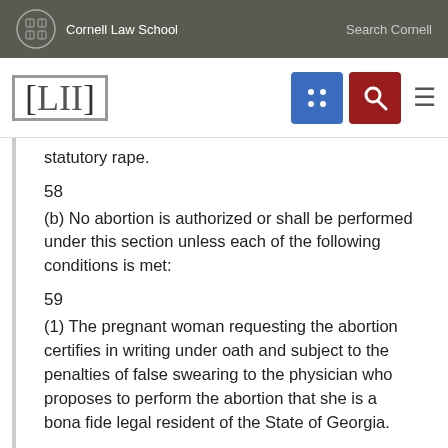Cornell Law School  Search Cornell
[Figure (logo): LII (Legal Information Institute) navigation bar with blue grid icon and red search icon]
statutory rape.
58
(b) No abortion is authorized or shall be performed under this section unless each of the following conditions is met:
59
(1) The pregnant woman requesting the abortion certifies in writing under oath and subject to the penalties of false swearing to the physician who proposes to perform the abortion that she is a bona fide legal resident of the State of Georgia.
60
(2) The physician certifies that he believes the